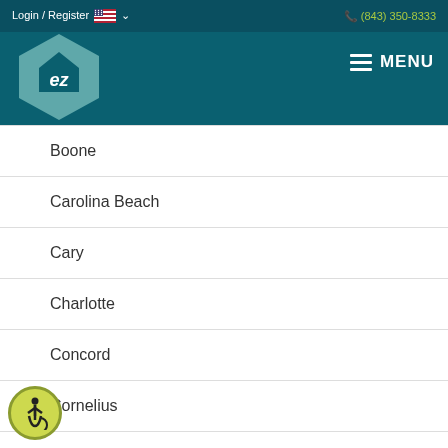Login / Register  (843) 350-8333
[Figure (logo): EZ home logo — hexagon shape with 'ez' text inside, teal colored, with hamburger menu MENU button]
Boone
Carolina Beach
Cary
Charlotte
Concord
Cornelius
Duck